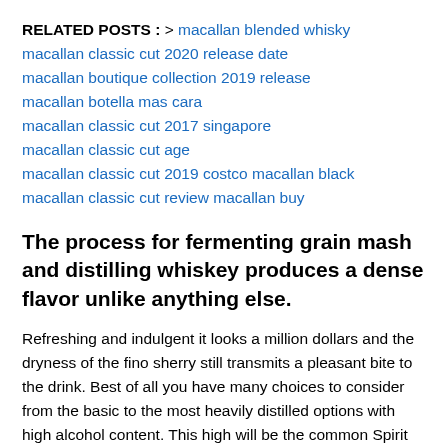RELATED POSTS : > macallan blended whisky macallan classic cut 2020 release date macallan boutique collection 2019 release macallan botella mas cara macallan classic cut 2017 singapore macallan classic cut age macallan classic cut 2019 costco macallan black macallan classic cut review macallan buy
The process for fermenting grain mash and distilling whiskey produces a dense flavor unlike anything else.
Refreshing and indulgent it looks a million dollars and the dryness of the fino sherry still transmits a pleasant bite to the drink. Best of all you have many choices to consider from the basic to the most heavily distilled options with high alcohol content. This high will be the common Spirit as distilled...